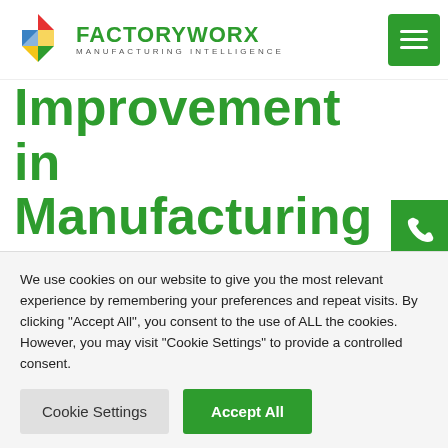[Figure (logo): FactoryWorx Manufacturing Intelligence logo with colorful diamond shape and green text]
Improvement in Manufacturing
Cost-efficient
Less waste (money, resources, time)
Enhanced operational efficiency
Enhanced customer satisfaction
We use cookies on our website to give you the most relevant experience by remembering your preferences and repeat visits. By clicking "Accept All", you consent to the use of ALL the cookies. However, you may visit "Cookie Settings" to provide a controlled consent.